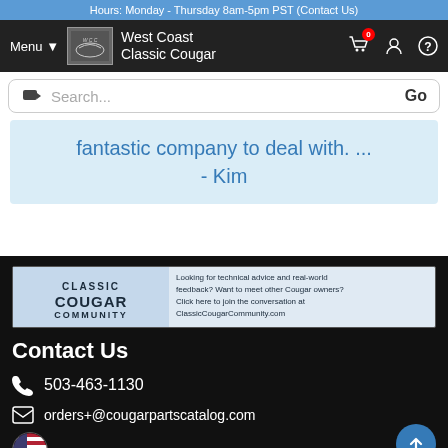Hours: Monday - Thursday 8am-5pm PST (Contact Us)
[Figure (screenshot): West Coast Classic Cougar navigation header with logo, menu, cart (0), user and help icons]
Search...
fantastic company to deal with. ... - Kim
[Figure (illustration): Classic Cougar Community banner ad: Looking for technical advice and real-world feedback? Want to meet other Cougar owners? Click here to join the conversation at ClassicCougarCommunity.com]
Contact Us
503-463-1130
orders+@cougarpartscatalog.com